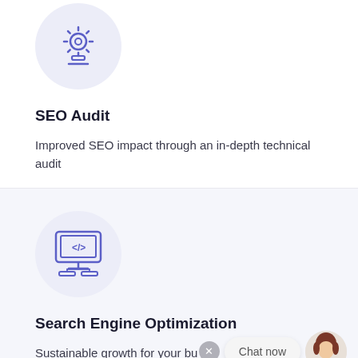[Figure (illustration): Blue/purple line icon of a gear with circuit/tech elements on a light lavender circular background — SEO Audit icon]
SEO Audit
Improved SEO impact through an in-depth technical audit
[Figure (illustration): Blue/purple line icon of a computer monitor displaying code tags </> with a sitemap/wireframe structure below, on a light lavender circular background — Search Engine Optimization icon]
Search Engine Optimization
Sustainable growth for your bu…